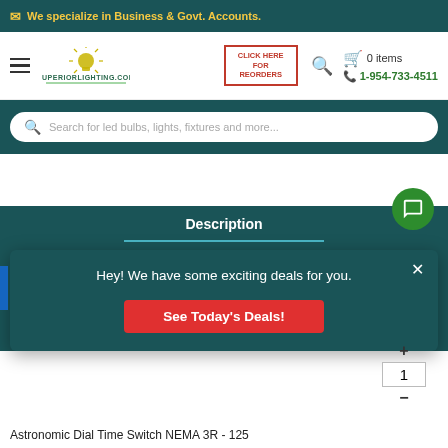We specialize in Business & Govt. Accounts.
[Figure (logo): SuperiorLighting.com logo with lightbulb graphic]
CLICK HERE FOR REORDERS
0 items
1-954-733-4511
Search for led bulbs, lights, fixtures and more...
Description
Hey! We have some exciting deals for you.
See Today's Deals!
1
Astronomic Dial Time Switch NEMA 3R - 125